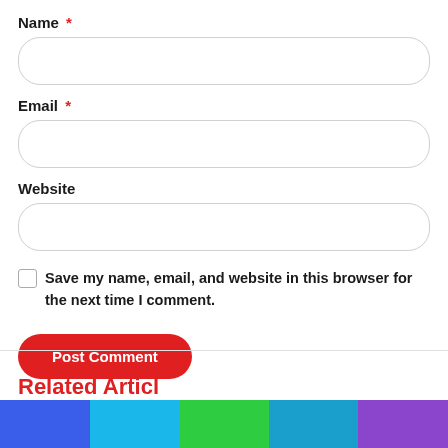Name *
[Figure (other): Name text input field, rounded rectangle border]
Email *
[Figure (other): Email text input field, rounded rectangle border]
Website
[Figure (other): Website text input field, rounded rectangle border]
Save my name, email, and website in this browser for the next time I comment.
[Figure (other): Post Comment red rounded button]
Related Articles
[Figure (infographic): Social share bar with blue, cyan, green, teal, and purple segments]